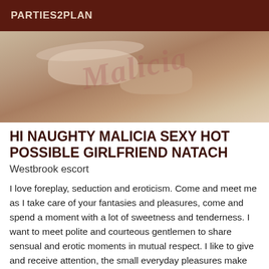PARTIES2PLAN
[Figure (photo): Close-up photo of a person lying down with hands visible, watermarked with 'Malicia' in italic script]
HI NAUGHTY MALICIA SEXY HOT POSSIBLE GIRLFRIEND NATACH
Westbrook escort
I love foreplay, seduction and eroticism. Come and meet me as I take care of your fantasies and pleasures, come and spend a moment with a lot of sweetness and tenderness. I want to meet polite and courteous gentlemen to share sensual and erotic moments in mutual respect. I like to give and receive attention, the small everyday pleasures make life more beautiful and pleasant. Ps:When I don't answer your call you have to send me a message and I will answer you as soon as